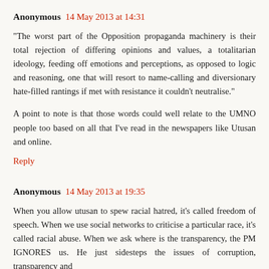Anonymous 14 May 2013 at 14:31
"The worst part of the Opposition propaganda machinery is their total rejection of differing opinions and values, a totalitarian ideology, feeding off emotions and perceptions, as opposed to logic and reasoning, one that will resort to name-calling and diversionary hate-filled rantings if met with resistance it couldn't neutralise."
A point to note is that those words could well relate to the UMNO people too based on all that I've read in the newspapers like Utusan and online.
Reply
Anonymous 14 May 2013 at 19:35
When you allow utusan to spew racial hatred, it's called freedom of speech. When we use social networks to criticise a particular race, it's called racial abuse. When we ask where is the transparency, the PM IGNORES us. He just sidesteps the issues of corruption, transparency and